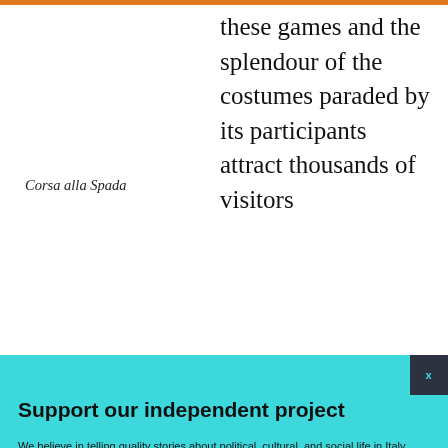these games and the splendour of the costumes paraded by its participants attract thousands of visitors
Corsa alla Spada
Support our independent project
We believe in telling quality stories about political, cultural, and social life in Italy, free from paywalls or (too many) ads. If you enjoy reading, we hope you'll consider donating or subscribing to our Patreon community. Thank you.
BECOME A PATRON
DONATE
Follow us: Facebook Instagram Twitter